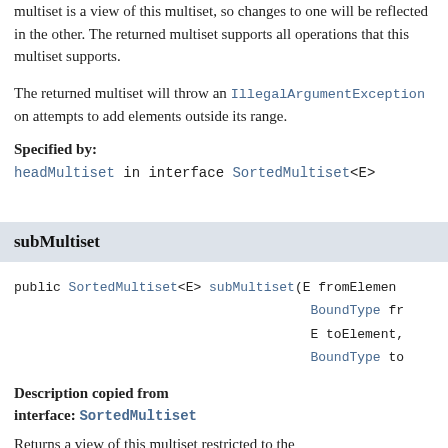multiset is a view of this multiset, so changes to one will be reflected in the other. The returned multiset supports all operations that this multiset supports.
The returned multiset will throw an IllegalArgumentException on attempts to add elements outside its range.
Specified by:
headMultiset in interface SortedMultiset<E>
subMultiset
public SortedMultiset<E> subMultiset(E fromElement, BoundType fromBoundType, E toElement, BoundType toBoundType)
Description copied from interface: SortedMultiset
Returns a view of this multiset restricted to the